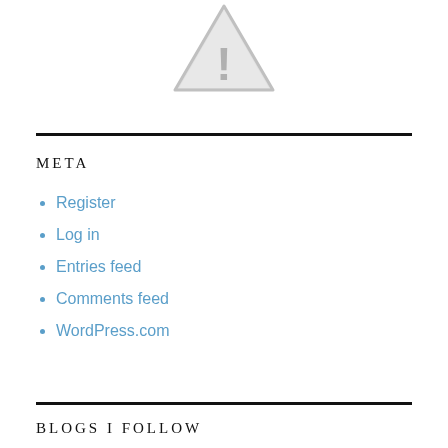[Figure (illustration): Gray warning/caution triangle icon with exclamation mark]
META
Register
Log in
Entries feed
Comments feed
WordPress.com
BLOGS I FOLLOW